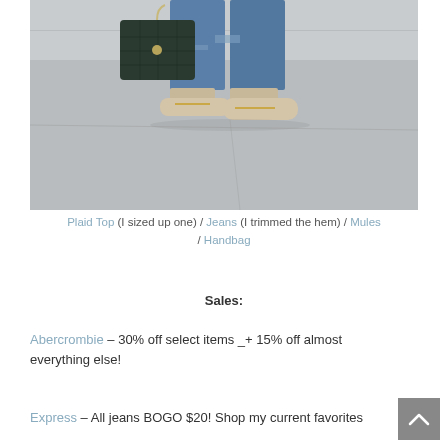[Figure (photo): Fashion photo showing lower half of a person wearing blue cropped/distressed jeans, beige mule shoes with gold chain detail, carrying a dark green/black quilted chain crossbody handbag, standing on a grey concrete surface.]
Plaid Top (I sized up one) / Jeans (I trimmed the hem) / Mules / Handbag
Sales:
Abercrombie – 30% off select items _+ 15% off almost everything else!
Express – All jeans BOGO $20! Shop my current favorites